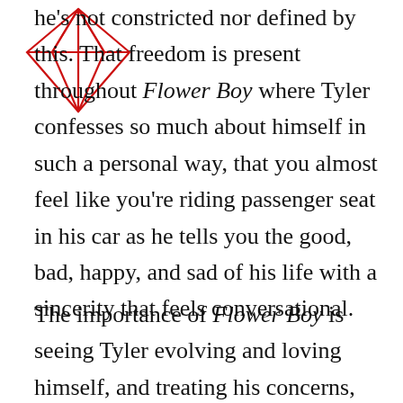[Figure (illustration): Red wireframe diamond/gem shape outline drawn in red lines, positioned at the top-left of the page overlapping the text.]
he's not constricted nor defined by this. That freedom is present throughout Flower Boy where Tyler confesses so much about himself in such a personal way, that you almost feel like you're riding passenger seat in his car as he tells you the good, bad, happy, and sad of his life with a sincerity that feels conversational.
The importance of Flower Boy is seeing Tyler evolving and loving himself, and treating his concerns, wants, and worries with a relatable realism that he's shown in varying degrees on prior projects but unlike this one. He's blossoming into the person he knows he wants to be and is